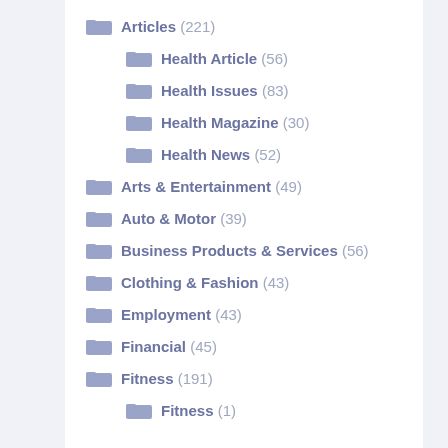Articles (221)
Health Article (56)
Health Issues (83)
Health Magazine (30)
Health News (52)
Arts & Entertainment (49)
Auto & Motor (39)
Business Products & Services (56)
Clothing & Fashion (43)
Employment (43)
Financial (45)
Fitness (191)
Fitness (1)